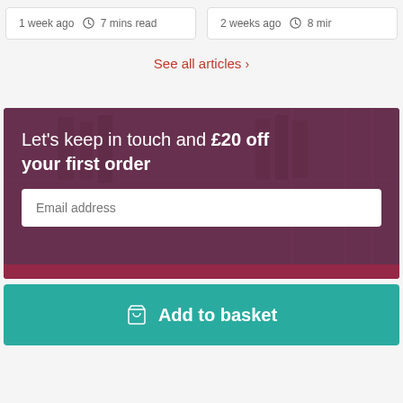1 week ago  7 mins read
2 weeks ago  8 mir
See all articles >
[Figure (photo): Promotional banner with dark purple-tinted background showing kitchen/bar scene. Text overlay reads: Let's keep in touch and £20 off your first order, with an email address input field below.]
Add to basket